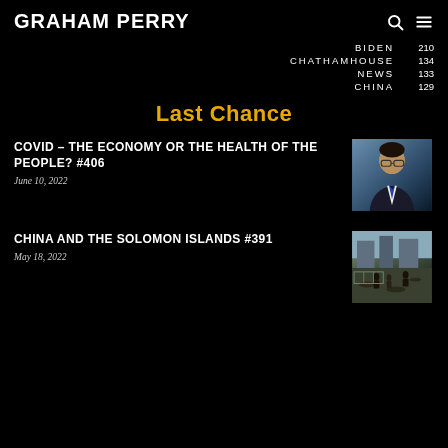GRAHAM PERRY
BIDEN 210
CHATHAMHOUSE 134
NEWS 133
CHINA 129
Last Chance
COVID – THE ECONOMY OR THE HEALTH OF THE PEOPLE? #406
June 10, 2022
[Figure (photo): Portrait photo of a man with glasses wearing a suit and blue tie]
CHINA AND THE SOLOMON ISLANDS #391
May 18, 2022
[Figure (photo): Street scene with people and debris, outdoors]